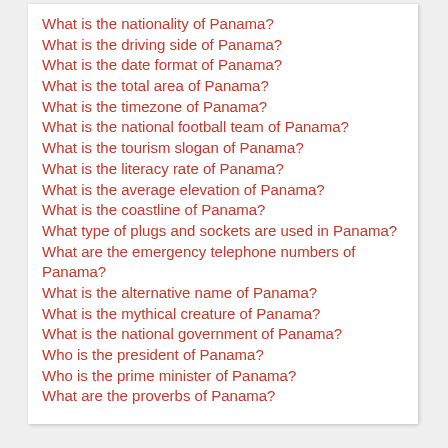What is the nationality of Panama?
What is the driving side of Panama?
What is the date format of Panama?
What is the total area of Panama?
What is the timezone of Panama?
What is the national football team of Panama?
What is the tourism slogan of Panama?
What is the literacy rate of Panama?
What is the average elevation of Panama?
What is the coastline of Panama?
What type of plugs and sockets are used in Panama?
What are the emergency telephone numbers of Panama?
What is the alternative name of Panama?
What is the mythical creature of Panama?
What is the national government of Panama?
Who is the president of Panama?
Who is the prime minister of Panama?
What are the proverbs of Panama?